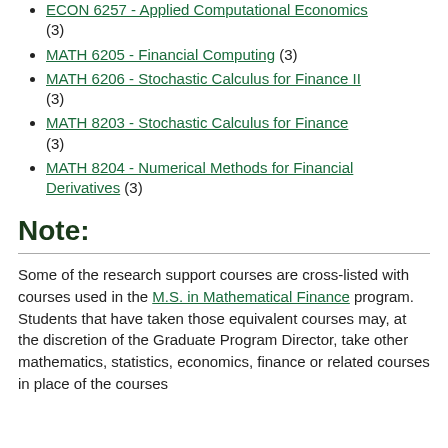ECON 6257 - Applied Computational Economics (3)
MATH 6205 - Financial Computing (3)
MATH 6206 - Stochastic Calculus for Finance II (3)
MATH 8203 - Stochastic Calculus for Finance (3)
MATH 8204 - Numerical Methods for Financial Derivatives (3)
Note:
Some of the research support courses are cross-listed with courses used in the M.S. in Mathematical Finance program. Students that have taken those equivalent courses may, at the discretion of the Graduate Program Director, take other mathematics, statistics, economics, finance or related courses in place of the courses